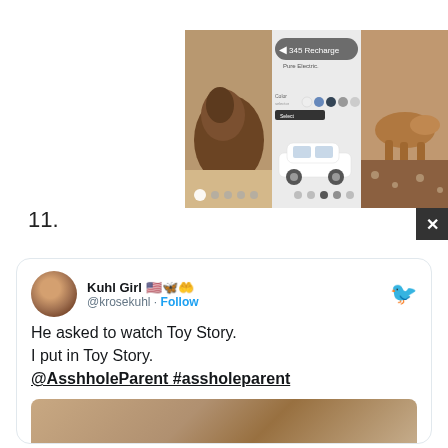[Figure (screenshot): Screenshot of a social media image carousel showing dogs with an overlaid car advertisement (Volvo 345 Recharge, Pure Electric). A close/X button appears at top right.]
11.
[Figure (screenshot): Tweet by Kuhl Girl (@krosekuhl) with text: He asked to watch Toy Story. I put in Toy Story. @AsshholeParent #assholeparent, with a partial image preview below.]